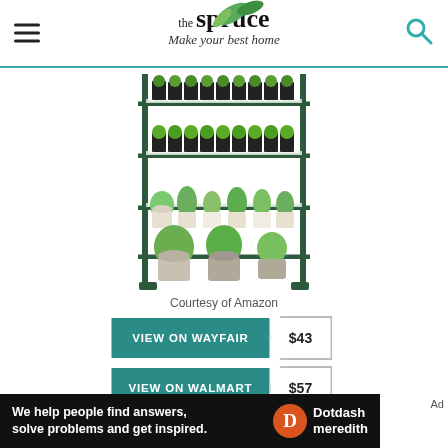the spruce — Make your best home
[Figure (photo): A 4-tier metal plant shelf/greenhouse rack holding multiple potted plants including herbs on top tiers and larger houseplants on lower tiers. Product photo on white background from Amazon.]
Courtesy of Amazon
VIEW ON WAYFAIR $43
VIEW ON WALMART $57
We help people find answers, solve problems and get inspired. Dotdash meredith